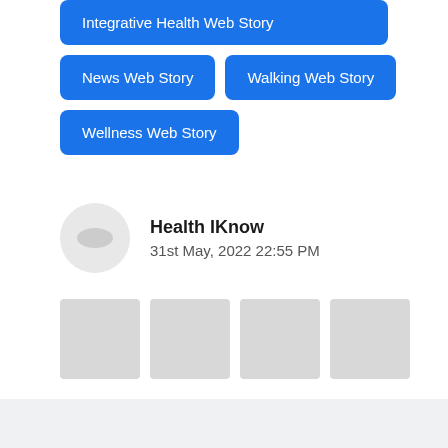Integrative Health Web Story
News Web Story
Walking Web Story
Wellness Web Story
Health IKnow
31st May, 2022 22:55 PM
[Figure (photo): Four gray placeholder thumbnail images in a row]
Walking Like This Over Time May Be Linked To Dementia, Study Finds View Story